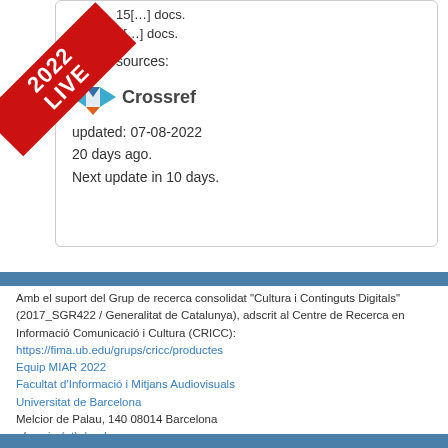15[…] docs.
4[…] docs.
sources:
[Figure (logo): Crossref logo with colorful arrow shapes and the word Crossref in bold]
updated: 07-08-2022
20 days ago.
Next update in 10 days.
Amb el suport del Grup de recerca consolidat "Cultura i Continguts Digitals" (2017_SGR422 / Generalitat de Catalunya), adscrit al Centre de Recerca en Informació Comunicació i Cultura (CRICC):
https://fima.ub.edu/grups/cricc/productes
Equip MIAR 2022
Facultat d'Informació i Mitjans Audiovisuals
Universitat de Barcelona
Melcior de Palau, 140 08014 Barcelona
a/e: miar(at)ub.edu